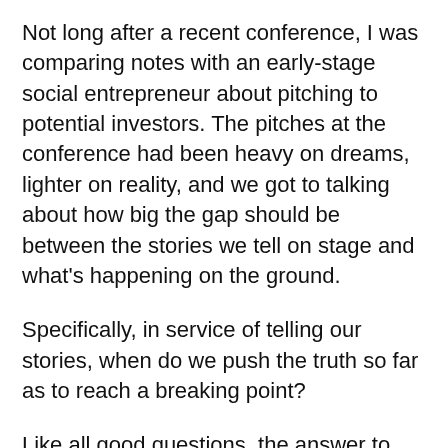Not long after a recent conference, I was comparing notes with an early-stage social entrepreneur about pitching to potential investors. The pitches at the conference had been heavy on dreams, lighter on reality, and we got to talking about how big the gap should be between the stories we tell on stage and what's happening on the ground.
Specifically, in service of telling our stories, when do we push the truth so far as to reach a breaking point?
Like all good questions, the answer to this one begins with recognizing the limits of black and white thinking: there aren't just two types of